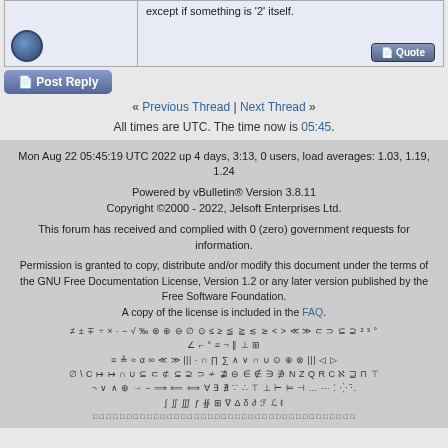except if something is '2' itself.
[Figure (screenshot): Post Reply button with icon]
« Previous Thread | Next Thread »
All times are UTC. The time now is 05:45.
Mon Aug 22 05:45:19 UTC 2022 up 4 days, 3:13, 0 users, load averages: 1.03, 1.19, 1.24
Powered by vBulletin® Version 3.8.11
Copyright ©2000 - 2022, Jelsoft Enterprises Ltd.
This forum has received and complied with 0 (zero) government requests for information.
Permission is granted to copy, distribute and/or modify this document under the terms of the GNU Free Documentation License, Version 1.2 or any later version published by the Free Software Foundation.
A copy of the license is included in the FAQ.
≠±∓÷×·−√‰⊗⊕⊖∅⊙≤≥≦≧≲≳<>≪≫⊂⊃⊆⊇²³° ∠⌐°≡¬‖⊥⊞ ≡≜≈α∞≪≫|||·∩∏∑∧∨∩∪⊙⊕⊗||| ∅\C↦↦∩∪⊆⊂⊄⊆⊇⊃≁⋣⊖∈∉∋∌NZQRCℵ⊒⊓⊤ ¬∨∧⊕→−⟹⟸⟺∀∃∄∵∴⊤⊥⊢⊨⊣… ∫∬∭ƒ∯⊞∇Δδ∂ℱℒℓ